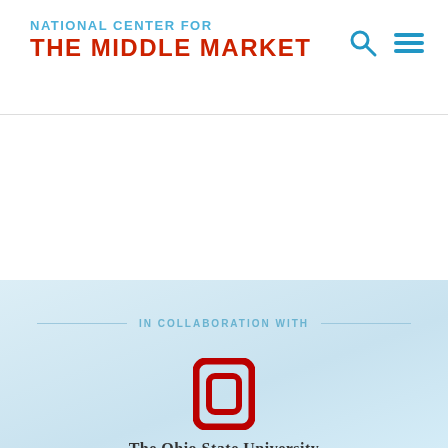NATIONAL CENTER FOR THE MIDDLE MARKET
IN COLLABORATION WITH
[Figure (logo): The Ohio State University Fisher College of Business logo with red block O and university name in serif font]